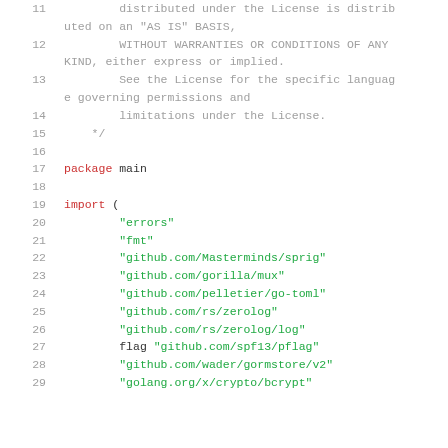Source code listing lines 11-29, Apache License comment block and Go package/import declaration
11    distributed under the License is distributed on an "AS IS" BASIS,
12    WITHOUT WARRANTIES OR CONDITIONS OF ANY KIND, either express or implied.
13    See the License for the specific language governing permissions and
14    limitations under the License.
15  */
16  (empty)
17  package main
18  (empty)
19  import (
20    "errors"
21    "fmt"
22    "github.com/Masterminds/sprig"
23    "github.com/gorilla/mux"
24    "github.com/pelletier/go-toml"
25    "github.com/rs/zerolog"
26    "github.com/rs/zerolog/log"
27    flag "github.com/spf13/pflag"
28    "github.com/wader/gormstore/v2"
29    "golang.org/x/crypto/bcrypt"